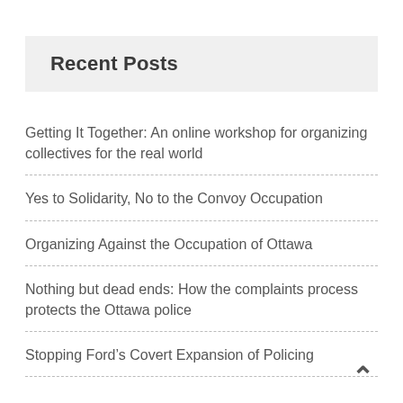Recent Posts
Getting It Together: An online workshop for organizing collectives for the real world
Yes to Solidarity, No to the Convoy Occupation
Organizing Against the Occupation of Ottawa
Nothing but dead ends: How the complaints process protects the Ottawa police
Stopping Ford’s Covert Expansion of Policing